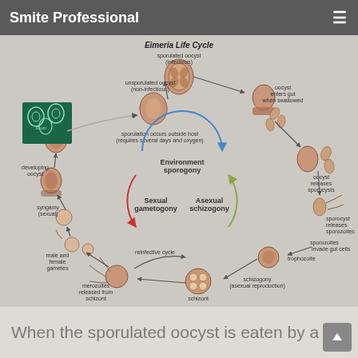Smite Professional
[Figure (infographic): Eimeria Life Cycle diagram showing the circular life cycle of Eimeria parasite. The cycle includes: sporulated oocyst (infectious), oocyst enters gut when swallowed, oocyst releases sporocysts, sporocyst releases sporozoites, sporozoites invade gut cells, trophozoite, schizogony (asexual reproduction), schizont, merozoites released from schizont, male and female gametes, syngamy (sexual), developing oocyst, oocyst shed in feces, unsporulated oocyst (non-infectious), sporulation occurs outside host (requires several days and oxygen). The center of the cycle shows three phases: Environment sporogony (top, blue arrow), Asexual schizogony (right, green arrow), Sexual gametogony (left, red arrow). A reinfective cycle arrow is shown at the bottom. A green microscope image inset shows oocysts with scale bar 30 µm.]
When the sporulated oocyst is eaten by a